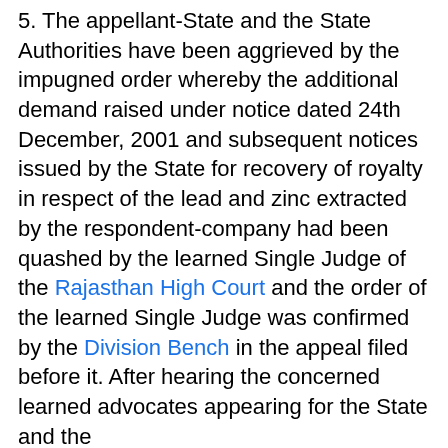5. The appellant-State and the State Authorities have been aggrieved by the impugned order whereby the additional demand raised under notice dated 24th December, 2001 and subsequent notices issued by the State for recovery of royalty in respect of the lead and zinc extracted by the respondent-company had been quashed by the learned Single Judge of the Rajasthan High Court and the order of the learned Single Judge was confirmed by the Division Bench in the appeal filed before it. After hearing the concerned learned advocates appearing for the State and the